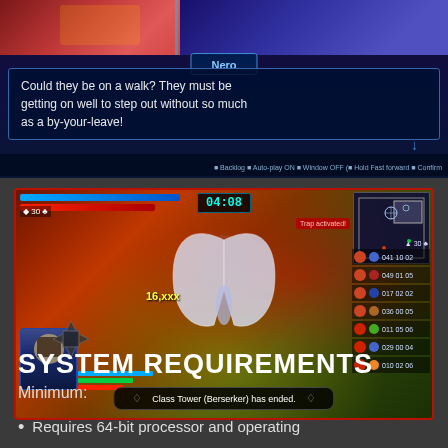[Figure (screenshot): Visual novel dialogue screenshot showing character Nero with text: 'Could they be on a walk? They must be getting on well to step out without so much as a by-your-leave!' with game UI controls at bottom.]
[Figure (screenshot): Action RPG battle screenshot showing combat scene with timer '04:08', character portraits, skill bars, minimap, and notification 'Class Tower (Berserker) has ended.']
SYSTEM REQUIREMENTS
Minimum:
Requires 64-bit processor and operating